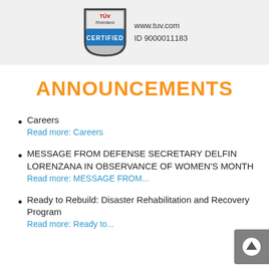[Figure (logo): TÜV Rheinland CERTIFIED badge with www.tuv.com and ID 9000011183]
ANNOUNCEMENTS
Careers
Read more: Careers
MESSAGE FROM DEFENSE SECRETARY DELFIN LORENZANA IN OBSERVANCE OF WOMEN'S MONTH
Read more: MESSAGE FROM...
Ready to Rebuild: Disaster Rehabilitation and Recovery Program
Read more: Ready to...